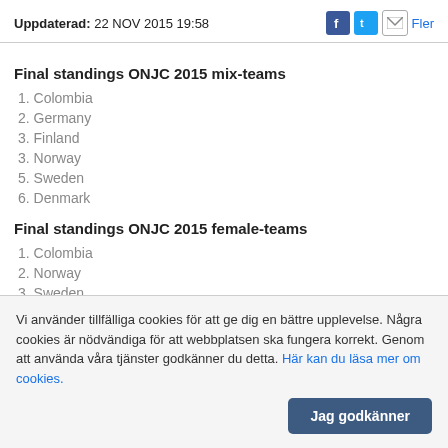Uppdaterad: 22 NOV 2015 19:58
Final standings ONJC 2015 mix-teams
1. Colombia
2. Germany
3. Finland
3. Norway
5. Sweden
6. Denmark
Final standings ONJC 2015 female-teams
1. Colombia
2. Norway
3. Sweden
4. Denmark
Vi använder tillfälliga cookies för att ge dig en bättre upplevelse. Några cookies är nödvändiga för att webbplatsen ska fungera korrekt. Genom att använda våra tjänster godkänner du detta. Här kan du läsa mer om cookies.